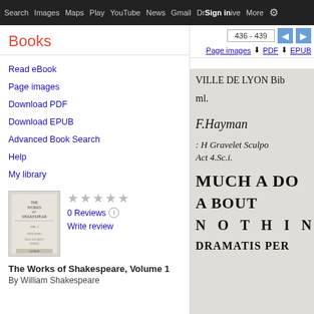Search  Images  Maps  Play  YouTube  News  Gmail  Drive  More  Sign in  ⚙
Books
Read eBook
Page images
Download PDF
Download EPUB
Advanced Book Search
Help
My library
[Figure (illustration): Book cover thumbnail for The Works of Shakespeare, Volume 1]
0 Reviews
Write review
The Works of Shakespeare, Volume 1
By William Shakespeare
436 - 439
Page images  ⬇ PDF  ⬇ EPUB
[Figure (screenshot): Scanned page from The Works of Shakespeare showing: VILLE DE LYON Bib... ml. F.Hayman : H Gravelet Sculpo... Act 4.Sc.i. MUCH A DO A BOUT N O T H I N G. DRAMATIS PER...]